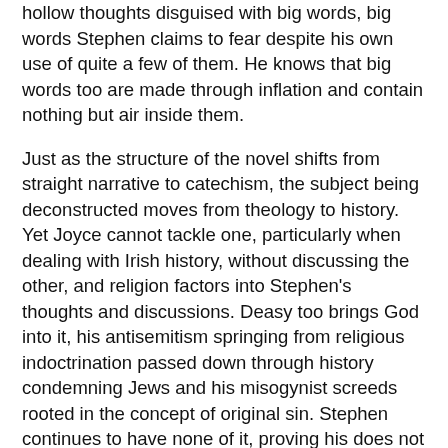becomes useless and trite, infecting young minds with hollow thoughts disguised with big words, big words Stephen claims to fear despite his own use of quite a few of them. He knows that big words too are made through inflation and contain nothing but air inside them.
Just as the structure of the novel shifts from straight narrative to catechism, the subject being deconstructed moves from theology to history. Yet Joyce cannot tackle one, particularly when dealing with Irish history, without discussing the other, and religion factors into Stephen's thoughts and discussions. Deasy too brings God into it, his antisemitism springing from religious indoctrination passed down through history condemning Jews and his misogynist screeds rooted in the concept of original sin. Stephen continues to have none of it, proving his does not align with Deasy's Tory beliefs just as he rejected Davin's radical leftist leanings in A Portrait of the Artist as a Young Man.
The Nestor episode is short, sweet and direct, yet the level of detail it conjures using mere back-and-forth dialogue and blunt but evocative description builds upon the jumbled but vivid first chapter even as it drastically alters the direction